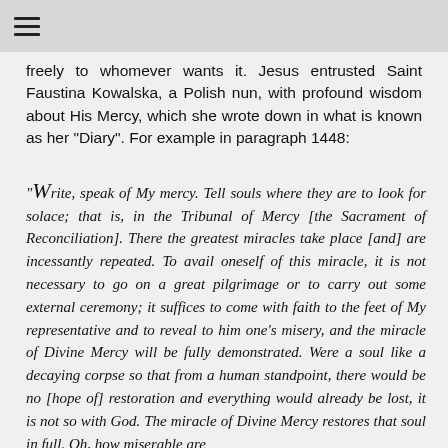≡
freely to whomever wants it. Jesus entrusted Saint Faustina Kowalska, a Polish nun, with profound wisdom about His Mercy, which she wrote down in what is known as her "Diary". For example in paragraph 1448:
"Write, speak of My mercy. Tell souls where they are to look for solace; that is, in the Tribunal of Mercy [the Sacrament of Reconciliation]. There the greatest miracles take place [and] are incessantly repeated. To avail oneself of this miracle, it is not necessary to go on a great pilgrimage or to carry out some external ceremony; it suffices to come with faith to the feet of My representative and to reveal to him one's misery, and the miracle of Divine Mercy will be fully demonstrated. Were a soul like a decaying corpse so that from a human standpoint, there would be no [hope of] restoration and everything would already be lost, it is not so with God. The miracle of Divine Mercy restores that soul in full. Oh, how miserable are